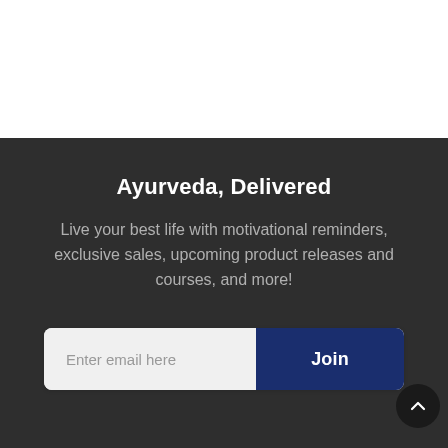Ayurveda, Delivered
Live your best life with motivational reminders, exclusive sales, upcoming product releases and courses, and more!
[Figure (screenshot): Email signup form with placeholder text 'Enter email here' and a dark blue 'Join' button on the right]